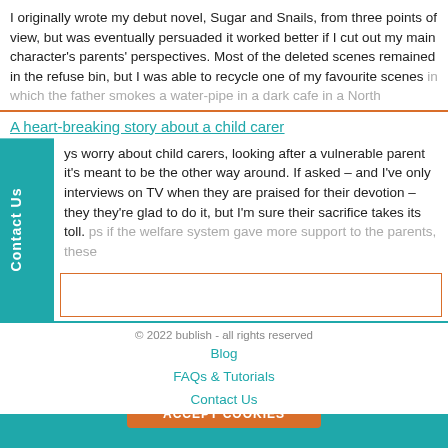I originally wrote my debut novel, Sugar and Snails, from three points of view, but was eventually persuaded it worked better if I cut out my main character's parents' perspectives. Most of the deleted scenes remained in the refuse bin, but I was able to recycle one of my favourite scenes in which the father smokes a water-pipe in a dark cafe in a North
A heart-breaking story about a child carer
ys worry about child carers, looking after a vulnerable parent it's meant to be the other way around. If asked – and I've only interviews on TV when they are praised for their devotion – they they're glad to do it, but I'm sure their sacrifice takes its toll. ps if the welfare system gave more support to the parents, these
© 2022 bublish - all rights reserved
Blog
FAQs & Tutorials
Contact Us
We use cookies so you get the best experience on our website. By using our site, you are agreeing to our Cookie Policy.